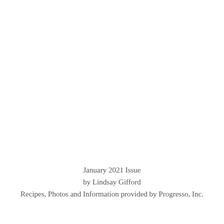January 2021 Issue
by Lindsay Gifford
Recipes, Photos and Information provided by Progresso, Inc.